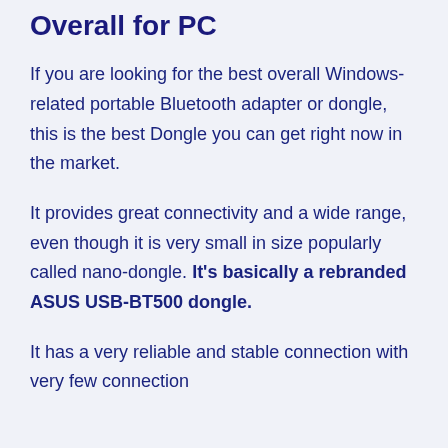Overall for PC
If you are looking for the best overall Windows-related portable Bluetooth adapter or dongle, this is the best Dongle you can get right now in the market.
It provides great connectivity and a wide range, even though it is very small in size popularly called nano-dongle. It's basically a rebranded ASUS USB-BT500 dongle.
It has a very reliable and stable connection with very few connection